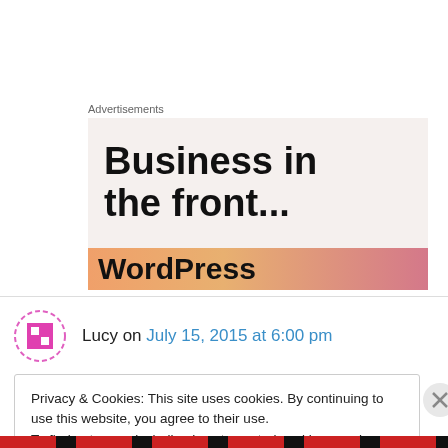Advertisements
[Figure (illustration): WordPress advertisement banner showing 'Business in the front...' text on a light pink/beige background, with an orange-gradient banner below showing 'WordPress' text]
Lucy on July 15, 2015 at 6:00 pm
Privacy & Cookies: This site uses cookies. By continuing to use this website, you agree to their use.
To find out more, including how to control cookies, see here: Cookie Policy
Close and accept